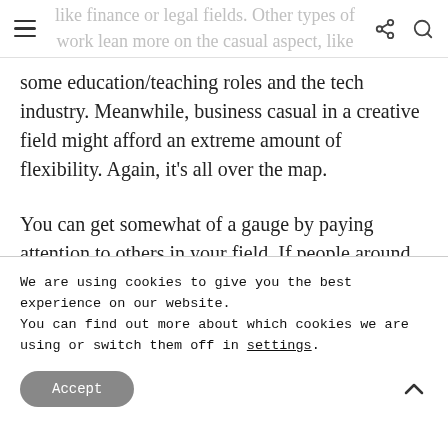≡  like finance or legal fields.  Other types of work lean more on the casual aspect, like
some education/teaching roles and the tech industry.  Meanwhile, business casual in a creative field might afford an extreme amount of flexibility.  Again, it's all over the map.
You can get somewhat of a gauge by paying attention to others in your field.  If people around you ever cross into business professional attire, then you
We are using cookies to give you the best experience on our website.
You can find out more about which cookies we are using or switch them off in settings.
Accept